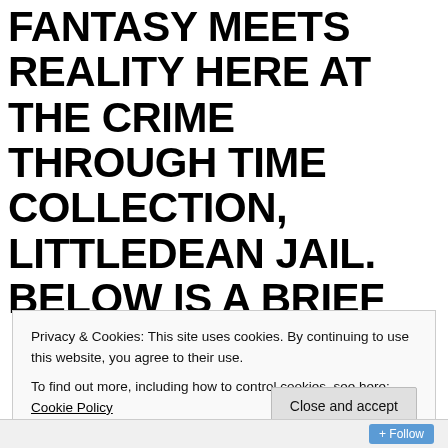FANTASY MEETS REALITY HERE AT THE CRIME THROUGH TIME COLLECTION, LITTLEDEAN JAIL. BELOW IS A BRIEF LOOK AT OUR EXHIBITION ON WITCHFINDER GENERAL- MATTHEW HOPKINS, WHICH EMBRACES BOTH THE ORIGINAL
Privacy & Cookies: This site uses cookies. By continuing to use this website, you agree to their use.
To find out more, including how to control cookies, see here: Cookie Policy